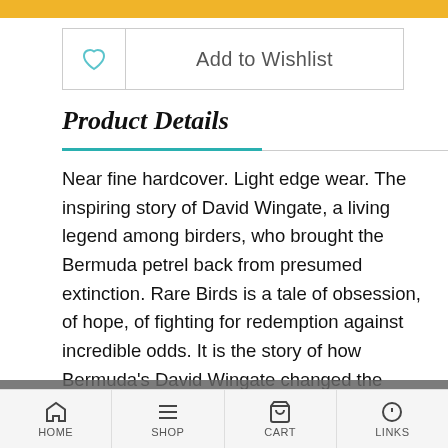[Figure (screenshot): Yellow top bar decorative element]
[Figure (screenshot): Add to Wishlist button with heart icon]
Product Details
Near fine hardcover. Light edge wear. The inspiring story of David Wingate, a living legend among birders, who brought the Bermuda petrel back from presumed extinction. Rare Birds is a tale of obsession, of hope, of fighting for redemption against incredible odds. It is the story of how Bermuda's David Wingate changed the world - or at least a little slice of it - despite the many voices telling him he was crazy to try. This tiny island in the middle of the North Atlantic was once the breeding ground for millions of Bermuda petrels. Also
This website uses functional cookies to ensure you get the best experience on our website. Learn more. Got it!
HOME  SHOP  CART  LINKS